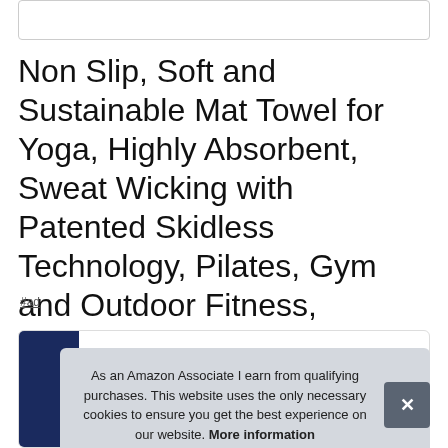Non Slip, Soft and Sustainable Mat Towel for Yoga, Highly Absorbent, Sweat Wicking with Patented Skidless Technology, Pilates, Gym and Outdoor Fitness, Yogitoes Yoga Mat Towel
#ad
[Figure (screenshot): Partial product image card at bottom with dark blue image area visible]
As an Amazon Associate I earn from qualifying purchases. This website uses the only necessary cookies to ensure you get the best experience on our website. More information